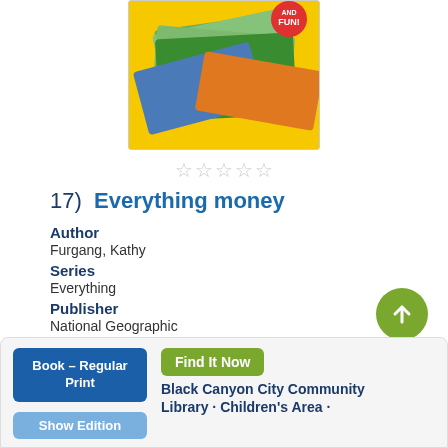[Figure (photo): Book cover of 'Everything Money' by National Geographic, featuring a yellow background with dollar bills and coins.]
☆☆☆☆☆
17)  Everything money
Author
Furgang, Kathy
Series
Everything
Publisher
National Geographic
Pub. Date
c2013
Language
English
Book – Regular Print
Show Edition
Find It Now
Black Canyon City Community Library · Children's Area ·